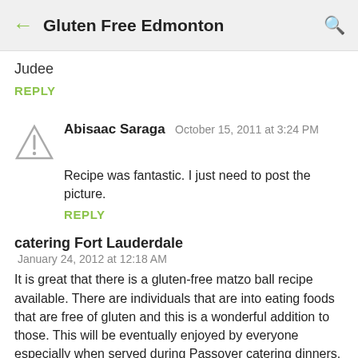Gluten Free Edmonton
Judee
REPLY
Abisaac Saraga  October 15, 2011 at 3:24 PM
Recipe was fantastic. I just need to post the picture.
REPLY
catering Fort Lauderdale
January 24, 2012 at 12:18 AM
It is great that there is a gluten-free matzo ball recipe available. There are individuals that are into eating foods that are free of gluten and this is a wonderful addition to those. This will be eventually enjoyed by everyone especially when served during Passover catering dinners.
REPLY